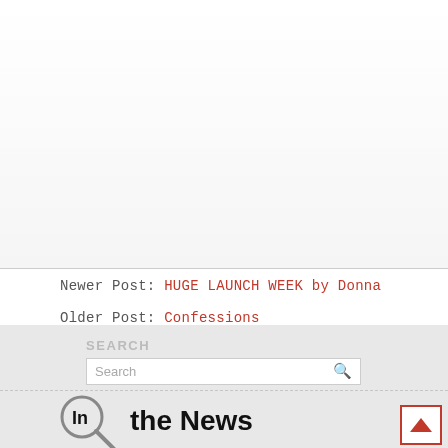Newer Post: HUGE LAUNCH WEEK by Donna
Older Post: Confessions
SEARCH
Search
[Figure (logo): In the News logo with magnifying glass graphic]